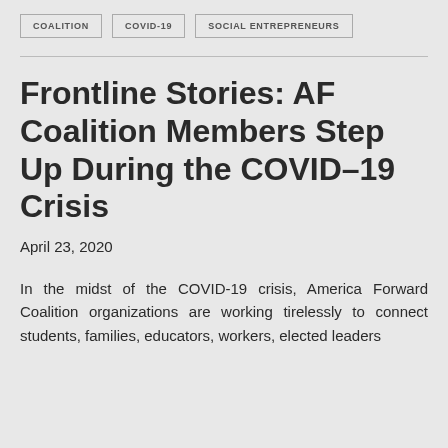COALITION   COVID-19   SOCIAL ENTREPRENEURS
Frontline Stories: AF Coalition Members Step Up During the COVID–19 Crisis
April 23, 2020
In the midst of the COVID-19 crisis, America Forward Coalition organizations are working tirelessly to connect students, families, educators, workers, elected leaders